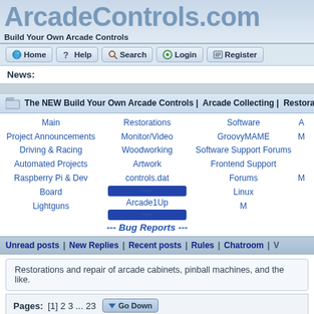ArcadeControls.com
Build Your Own Arcade Controls
Home | Help | Search | Login | Register
News:
The NEW Build Your Own Arcade Controls | Arcade Collecting | Restorations
Main
Project Announcements
Driving & Racing
Automated Projects
Raspberry Pi & Dev Board
Lightguns
Restorations
Monitor/Video
Woodworking
Artwork
controls.dat
Arcade1Up
--- Bug Reports ---
Software
GroovyMAME
Software Support Forums
Frontend Support Forums
Linux
Unread posts | New Replies | Recent posts | Rules | Chatroom |
Restorations and repair of arcade cabinets, pinball machines, and the like.
Pages: [1] 2 3 ... 23   Go Down
Subject / Started by